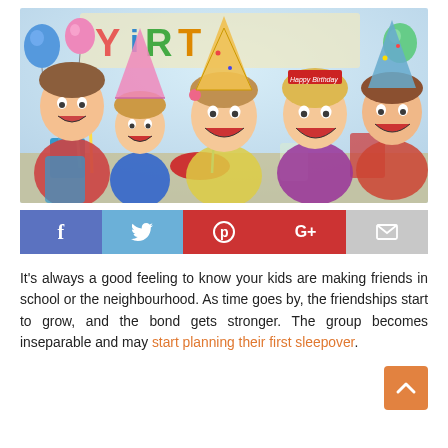[Figure (photo): Five happy children at a birthday party wearing party hats, smiling and laughing, with balloons and party decorations in background. One child wears a 'Happy Birthday' crown. Birthday banner visible in background.]
[Figure (infographic): Social media sharing bar with Facebook (f), Twitter (bird), Pinterest (P), Google+ (G+), and email (envelope) buttons in a horizontal row.]
It's always a good feeling to know your kids are making friends in school or the neighbourhood. As time goes by, the friendships start to grow, and the bond gets stronger. The group becomes inseparable and may start planning their first sleepover.